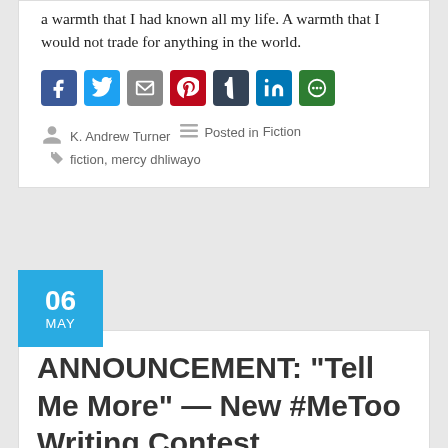a warmth that I had known all my life. A warmth that I would not trade for anything in the world.
[Figure (infographic): Social share buttons: Facebook, Twitter, Email, Pinterest, Tumblr, LinkedIn, More Options]
K. Andrew Turner  Posted in Fiction  fiction, mercy dhliwayo
ANNOUNCEMENT: “Tell Me More” — New #MeToo Writing Contest